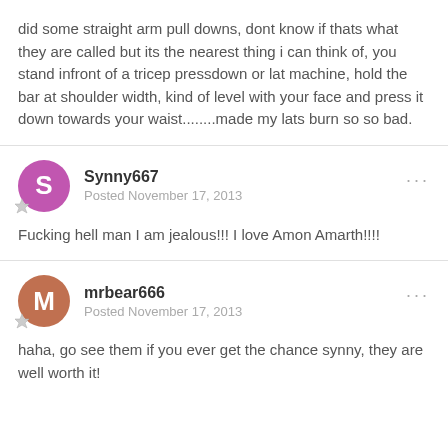did some straight arm pull downs, dont know if thats what they are called but its the nearest thing i can think of, you stand infront of a tricep pressdown or lat machine, hold the bar at shoulder width, kind of level with your face and press it down towards your waist........made my lats burn so so bad.
Synny667
Posted November 17, 2013
Fucking hell man I am jealous!!! I love Amon Amarth!!!!
mrbear666
Posted November 17, 2013
haha, go see them if you ever get the chance synny, they are well worth it!